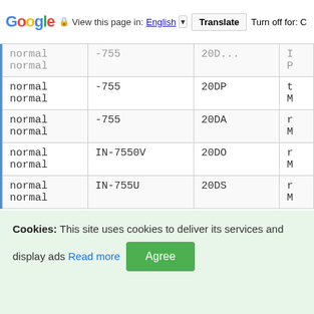Google | View this page in: English [dropdown] | Translate | Turn off for: C
| Status | Code | ID | ... |
| --- | --- | --- | --- |
| normal
normal | -755 | 20D... | ...P |
| normal
normal | -755 | 20DP | t
M |
| normal
normal | -755 | 20DA | r
M |
| normal
normal | IN-7550V | 20DO | r
M |
| normal
normal | IN-755U | 20DS | r
M |
| normal
normal | IN-755U | 20DSU | r
M |
Cookies: This site uses cookies to deliver its services and display ads Read more Agree